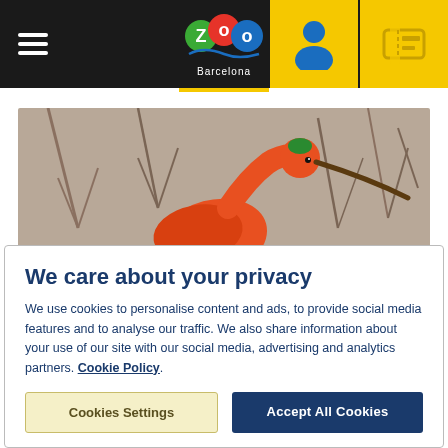Zoo Barcelona header navigation
[Figure (photo): A scarlet ibis bird with bright orange-red plumage and long curved beak, perched on a branch with bare winter trees in the background]
We care about your privacy
We use cookies to personalise content and ads, to provide social media features and to analyse our traffic. We also share information about your use of our site with our social media, advertising and analytics partners. Cookie Policy.
Cookies Settings
Accept All Cookies